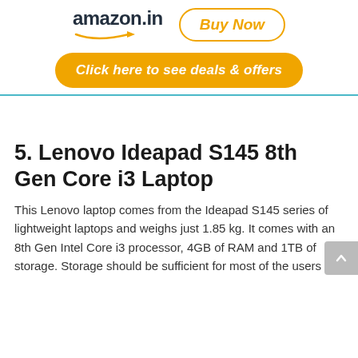[Figure (logo): Amazon.in logo with orange arrow and Buy Now button in orange rounded rectangle border]
[Figure (infographic): Orange rounded rectangle button with text 'Click here to see deals & offers' in white italic bold]
5. Lenovo Ideapad S145 8th Gen Core i3 Laptop
This Lenovo laptop comes from the Ideapad S145 series of lightweight laptops and weighs just 1.85 kg. It comes with an 8th Gen Intel Core i3 processor, 4GB of RAM and 1TB of storage. Storage should be sufficient for most of the users